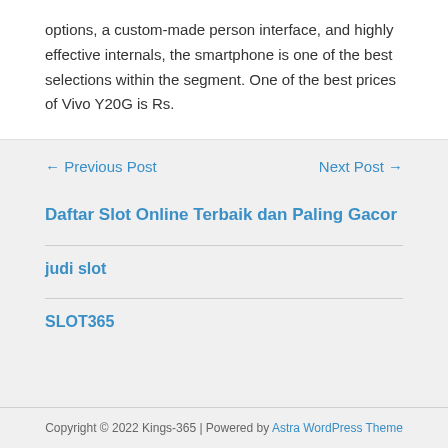options, a custom-made person interface, and highly effective internals, the smartphone is one of the best selections within the segment. One of the best prices of Vivo Y20G is Rs.
← Previous Post    Next Post →
Daftar Slot Online Terbaik dan Paling Gacor
judi slot
SLOT365
Copyright © 2022 Kings-365 | Powered by Astra WordPress Theme